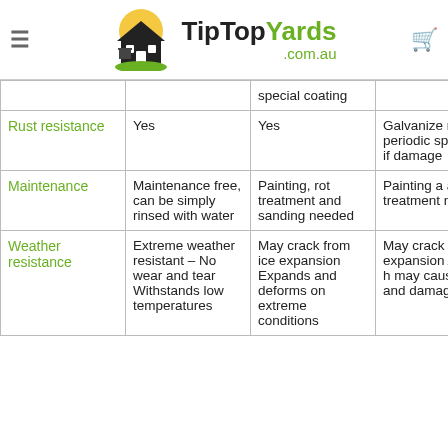TipTopYards.com.au
|  |  | special coating |  |
| --- | --- | --- | --- |
| Rust resistance | Yes | Yes | Galvanize requires periodic special co if damage |
| Maintenance | Maintenance free, can be simply rinsed with water | Painting, rot treatment and sanding needed | Painting a anti-rust treatment needed |
| Weather resistance | Extreme weather resistant – No wear and tear Withstands low temperatures | May crack from ice expansion Expands and deforms on extreme conditions | May crack from ice expansion Absorbs h may cause burns and damage to |